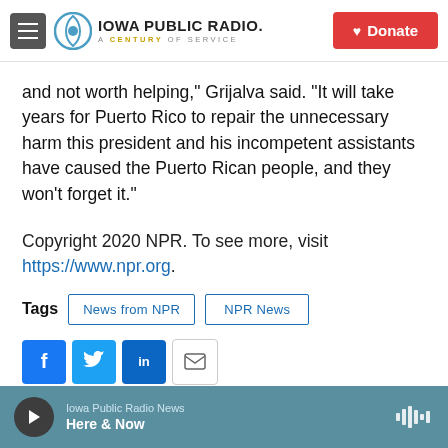Iowa Public Radio. A Century of Service. Donate.
and not worth helping," Grijalva said. "It will take years for Puerto Rico to repair the unnecessary harm this president and his incompetent assistants have caused the Puerto Rican people, and they won't forget it."
Copyright 2020 NPR. To see more, visit https://www.npr.org.
Tags: News from NPR, NPR News
[Figure (infographic): Social sharing buttons: Facebook, Twitter, LinkedIn, Email]
Iowa Public Radio News — Here & Now